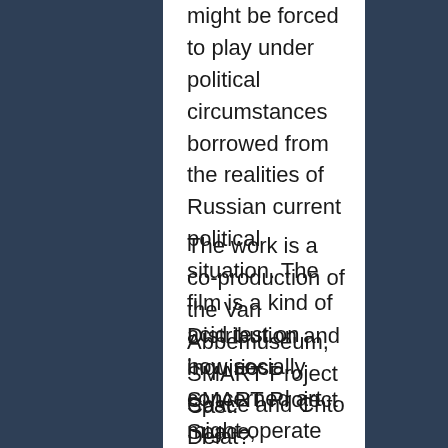might be forced to play under political circumstances borrowed from the realities of Russian current political situation. The film is a kind of acid test on how socially concerned art might operate under severe pressure of control by nationalistic populist governments.
The work is a co-production of the Van Abbemuseum, SMART Project Space and Chto Delat?
Distribution and inquiries: SMART Project Space, Amsterdam
Cast:
Museum director
William Sutton
Curator